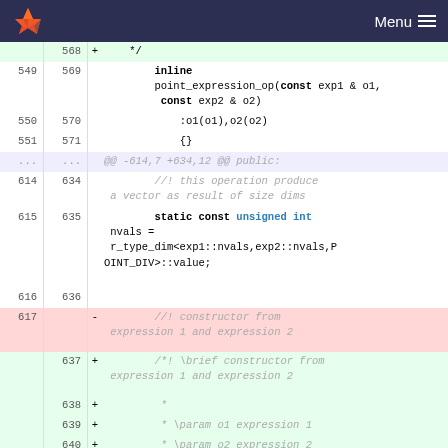GitLab — Menu
Code diff showing changes to point_expression_op constructor, lines 549-640